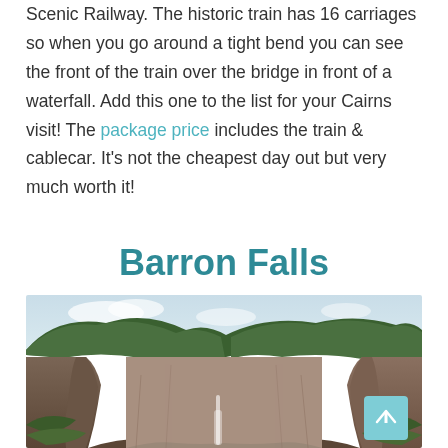Scenic Railway. The historic train has 16 carriages so when you go around a tight bend you can see the front of the train over the bridge in front of a waterfall. Add this one to the list for your Cairns visit! The package price includes the train & cablecar. It's not the cheapest day out but very much worth it!
Barron Falls
[Figure (photo): Aerial/landscape view of Barron Falls gorge showing a deep rocky canyon with sparse waterfall, surrounded by lush green forested hills under a partly cloudy sky.]